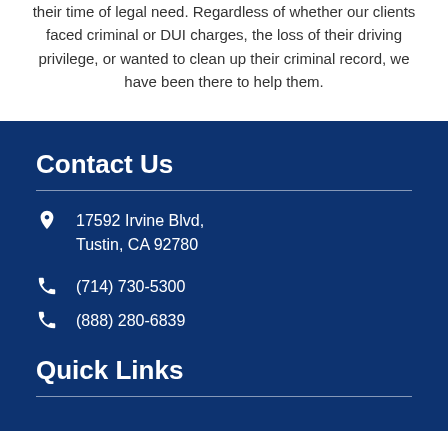their time of legal need. Regardless of whether our clients faced criminal or DUI charges, the loss of their driving privilege, or wanted to clean up their criminal record, we have been there to help them.
Contact Us
17592 Irvine Blvd, Tustin, CA 92780
(714) 730-5300
(888) 280-6839
Quick Links